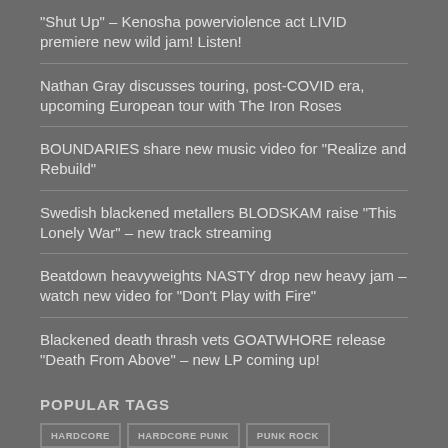“Shut Up” – Kenosha powerviolence act LIVID premiere new wild jam! Listen!
Nathan Gray discusses touring, post-COVID era, upcoming European tour with The Iron Roses
BOUNDARIES share new music video for “Realize and Rebuild”
Swedish blackened metallers BLODSKAM raise “This Lonely War” – new track streaming
Beatdown heavyweights NASTY drop new heavy jam – watch new video for “Don’t Play with Fire”
Blackened death thrash vets GOATWHORE release “Death From Above” – new LP coming up!
POPULAR TAGS
HARDCORE | HARDCORE PUNK | PUNK ROCK | POST HARDCORE | EXCLUSIVE | METALLIC HARDCORE | METALCORE | ROCK | MELODIC HARDCORE | ALTERNATIVE ROCK | POP PUNK | INDIE ROCK | SCREAMO | POST ROCK | STRAIGHT EDGE